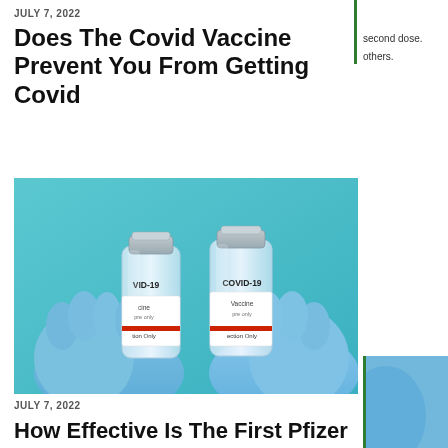JULY 7, 2022
Does The Covid Vaccine Prevent You From Getting Covid
second dose. others.
[Figure (photo): Two gloved hands in blue latex gloves holding two glass vials labeled COVID-19 Vaccine against a blue background]
JULY 7, 2022
How Effective Is The First Pfizer Covid-19 Shot